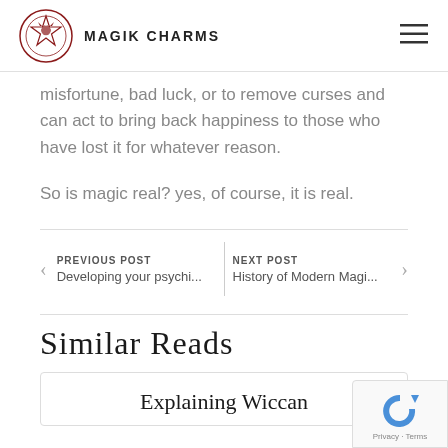MAGIK CHARMS
misfortune, bad luck, or to remove curses and can act to bring back happiness to those who have lost it for whatever reason.
So is magic real? yes, of course, it is real.
PREVIOUS POST
Developing your psychi...
NEXT POST
History of Modern Magi...
Similar Reads
Explaining Wiccan